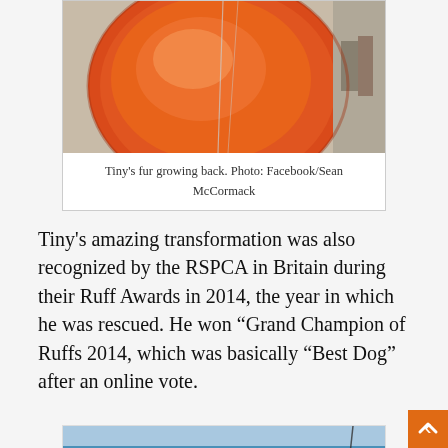[Figure (photo): Close-up photo of an orange/red dish or bowl, partially visible, with some background scene of rocks and people]
Tiny's fur growing back. Photo: Facebook/Sean McCormack
Tiny's amazing transformation was also recognized by the RSPCA in Britain during their Ruff Awards in 2014, the year in which he was rescued. He won “Grand Champion of Ruffs 2014, which was basically “Best Dog” after an online vote.
[Figure (photo): Photo of a coastal scene with blue ocean water, rocky coastline, and what appears to be a dog in the lower portion of the image]